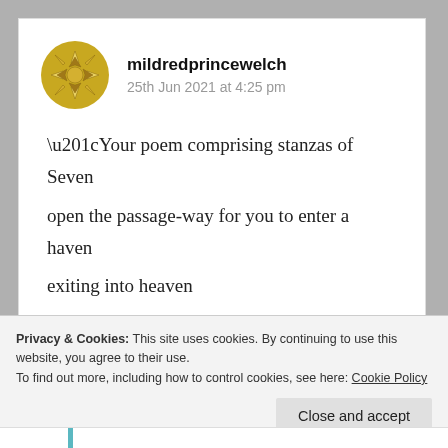[Figure (illustration): Golden/yellow decorative circular avatar icon with geometric star/flower pattern]
mildredprincewelch
25th Jun 2021 at 4:25 pm
“Your poem comprising stanzas of Seven
open the passage-way for you to enter a haven
exiting into heaven
meaning you have been fair and even!” _-Van
Prince
Privacy & Cookies: This site uses cookies. By continuing to use this website, you agree to their use.
To find out more, including how to control cookies, see here: Cookie Policy
Close and accept